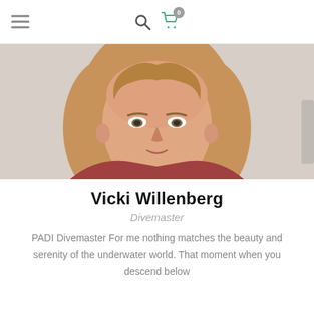navigation bar with hamburger menu, search icon, and cart icon with badge 0
[Figure (photo): Portrait photo of Vicki Willenberg, a woman with blonde/light brown hair, looking at the camera, wearing a reddish top, neutral background]
Vicki Willenberg
Divemaster
PADI Divemaster For me nothing matches the beauty and serenity of the underwater world. That moment when you descend below